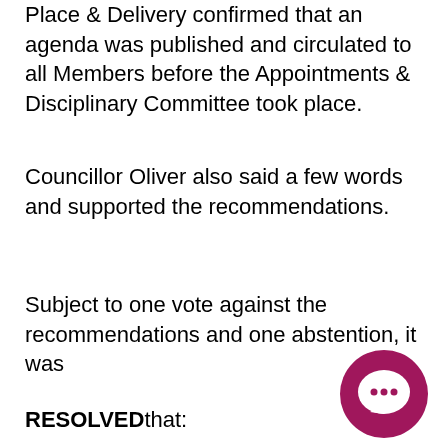Place & Delivery confirmed that an agenda was published and circulated to all Members before the Appointments & Disciplinary Committee took place.
Councillor Oliver also said a few words and supported the recommendations.
Subject to one vote against the recommendations and one abstention, it was
RESOLVEDthat: